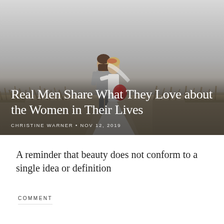[Figure (photo): A couple dressed in wedding attire — a groom in a grey suit and a bride in a white dress holding a red bouquet — standing face to face on a sandy path with beach grass, under a grey foggy sky.]
Real Men Share What They Love about the Women in Their Lives
CHRISTINE WARNER • NOV 12, 2019
A reminder that beauty does not conform to a single idea or definition
COMMENT